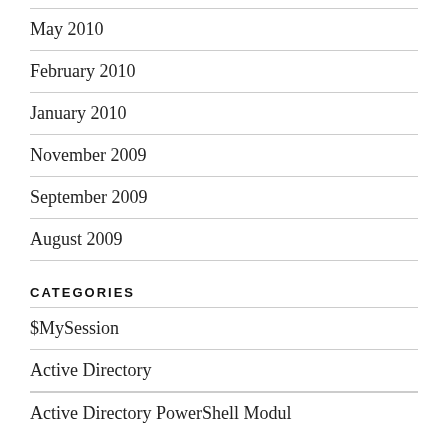May 2010
February 2010
January 2010
November 2009
September 2009
August 2009
CATEGORIES
$MySession
Active Directory
Active Directory PowerShell Module